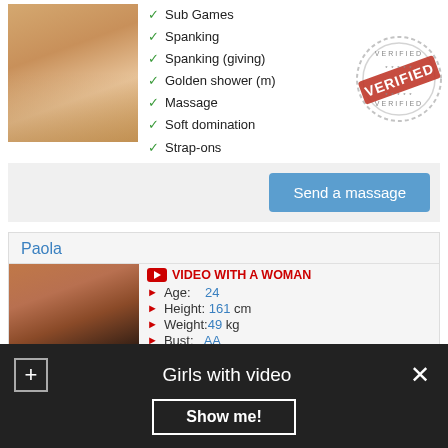Sub Games
Spanking
Spanking (giving)
Golden shower (m)
Massage
Soft domination
Strap-ons
[Figure (illustration): Verified stamp overlay]
Send a massage
Paola
[Figure (photo): Photo of woman]
VIDEO WITH A WOMAN
Age: 24
Height: 161 cm
Weight: 49 kg
Bust: AA
1 Hour: 90$
Girls with video
Show me!